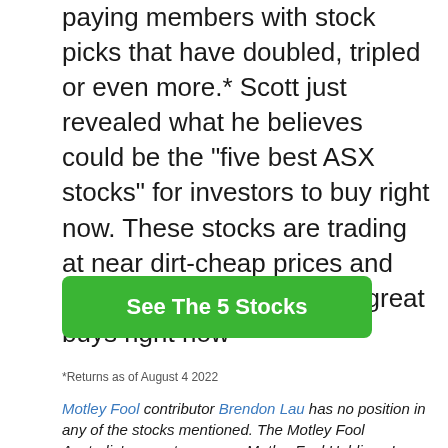paying members with stock picks that have doubled, tripled or even more.* Scott just revealed what he believes could be the "five best ASX stocks" for investors to buy right now. These stocks are trading at near dirt-cheap prices and Scott thinks they could be great buys right now
[Figure (other): Green call-to-action button with white bold text reading 'See The 5 Stocks']
*Returns as of August 4 2022
Motley Fool contributor Brendon Lau has no position in any of the stocks mentioned. The Motley Fool Australia's parent company Motley Fool Holdings Inc. owns and has recommended Brickworks and Washington H. Soul Pattinson and Company Limited. The Motley Fool Australia owns and has recommended